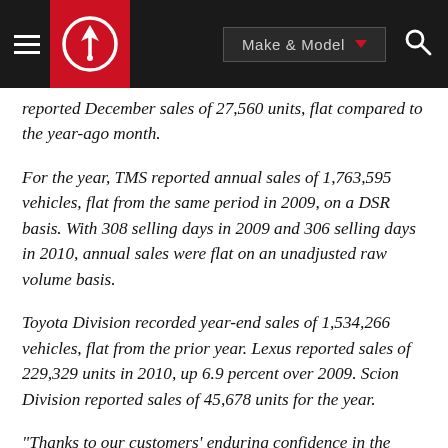Make & Model
reported December sales of 27,560 units, flat compared to the year-ago month.
For the year, TMS reported annual sales of 1,763,595 vehicles, flat from the same period in 2009, on a DSR basis. With 308 selling days in 2009 and 306 selling days in 2010, annual sales were flat on an unadjusted raw volume basis.
Toyota Division recorded year-end sales of 1,534,266 vehicles, flat from the prior year. Lexus reported sales of 229,329 units in 2010, up 6.9 percent over 2009. Scion Division reported sales of 45,678 units for the year.
"Thanks to our customers' enduring confidence in the